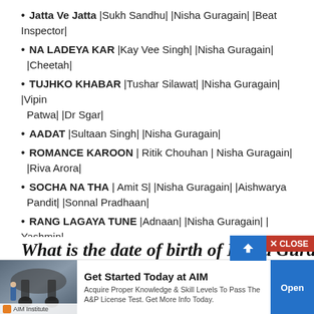Jatta Ve Jatta |Sukh Sandhu| |Nisha Guragain| |Beat Inspector|
NA LADEYA KAR |Kay Vee Singh| |Nisha Guragain| |Cheetah|
TUJHKO KHABAR |Tushar Silawat| |Nisha Guragain| |Vipin Patwa| |Dr Sgar|
AADAT |Sultaan Singh| |Nisha Guragain|
ROMANCE KAROON | Ritik Chouhan | Nisha Guragain| |Riva Arora|
SOCHA NA THA | Amit S| |Nisha Guragain| |Aishwarya Pandit| |Sonnal Pradhaan|
RANG LAGAYA TUNE |Adnaan| |Nisha Guragain| | Yashmin| |Aamir| |Sana|
TIKTOK |Vishal Pandey|Nisha Guragain|Stebin Ben|Sunny Inde|Kumaar|
What is the date of birth of Nisha Guragain
[Figure (screenshot): Advertisement banner for AIM Institute: Get Started Today at AIM. Acquire Proper Knowledge & Skill Levels To Pass The A&P License Test. Get More Info Today. With Open button and image of aircraft.]